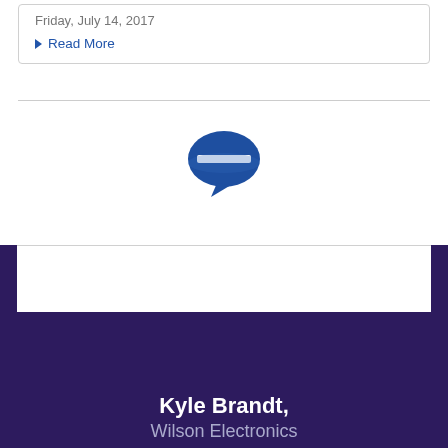Friday, July 14, 2017
Read More
[Figure (logo): Blue speech bubble / chat icon logo]
[Figure (other): Dark purple side panels with white card in center]
Kyle Brandt, Wilson Electronics